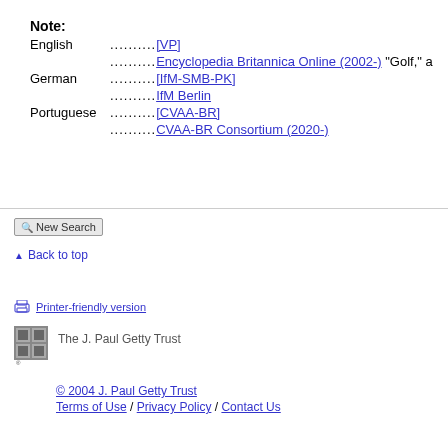Note:
English .......... [VP]
.......... Encyclopedia Britannica Online (2002-) "Golf," a
German .......... [IfM-SMB-PK]
.......... IfM Berlin
Portuguese.......... [CVAA-BR]
.......... CVAA-BR Consortium (2020-)
New Search
Back to top
Printer-friendly version
The J. Paul Getty Trust
© 2004 J. Paul Getty Trust
Terms of Use / Privacy Policy / Contact Us